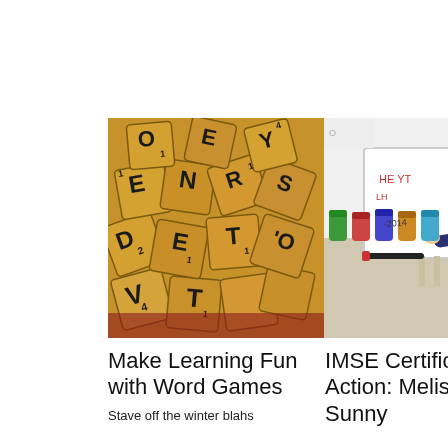[Figure (photo): A pile of Scrabble letter tiles scattered on a red surface, golden/orange wooden tiles with black letters visible including E, O, N, S, R, Y, D, T, V, E, O, T, V]
[Figure (photo): A young child with blonde hair writing on a whiteboard easel, colorful marker jars visible in background, child wearing dark blue top]
Make Learning Fun with Word Games
Stave off the winter blahs
IMSE Certification in Action: Melissa and Sunny